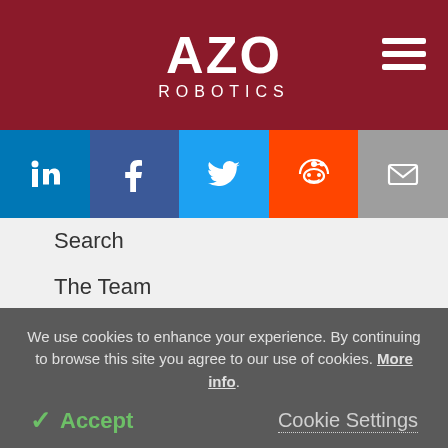AZO ROBOTICS
[Figure (infographic): Social media icons bar: LinkedIn (blue), Facebook (dark blue), Twitter (light blue), Reddit (orange), Email (gray)]
Search
The Team
Contact
Help/FAQs
Advertise
Terms & Conditions
Privacy & Cookie Policy
We use cookies to enhance your experience. By continuing to browse this site you agree to our use of cookies. More info.
✓ Accept   Cookie Settings